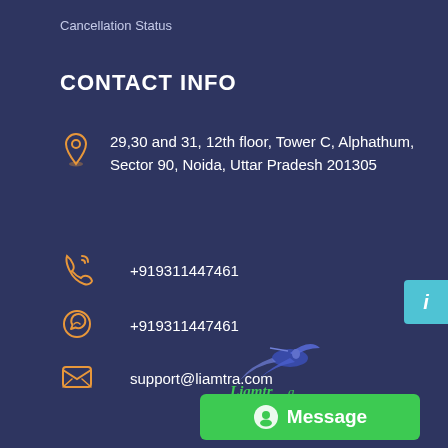Cancellation Status
CONTACT INFO
29,30 and 31, 12th floor, Tower C, Alphathum, Sector 90, Noida, Uttar Pradesh 201305
+919311447461
+919311447461
support@liamtra.com
[Figure (logo): Liamtra brand logo with hummingbird illustration and tagline 'something for every']
[Figure (other): Message chat button (green button with alien/chat icon and text 'Message')]